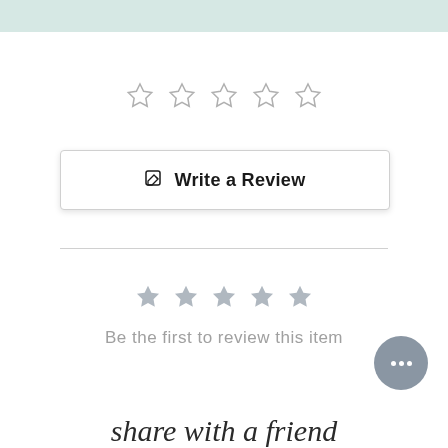[Figure (other): Light mint/teal decorative top bar]
[Figure (other): Five empty outline star icons for rating]
Write a Review
Be the first to review this item
[Figure (other): Chat widget button with three dots]
share with a friend